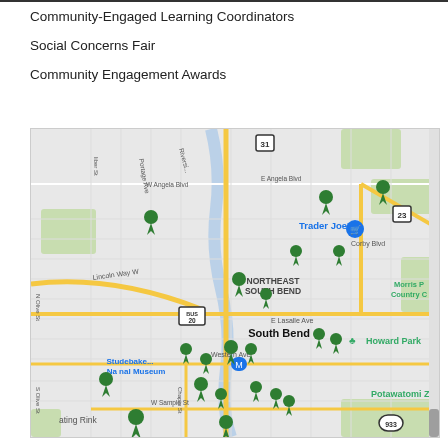Community-Engaged Learning Coordinators
Social Concerns Fair
Community Engagement Awards
[Figure (map): Google Maps view of South Bend, Indiana area showing multiple green map pin markers indicating community engagement locations. Landmarks visible include Trader Joe's, Studebaker National Museum, Howard Park, Potawatomi Zoo, Northeast South Bend label, and various street names including Lincoln Way W, E Angela Blvd, W Angela Blvd, E Lasalle Ave, Western Ave, W Sample St, Corby Blvd. Route markers for 31, 23, 20, BUS 20, and 933 are shown. A blue shopping cart icon marks Trader Joe's location.]